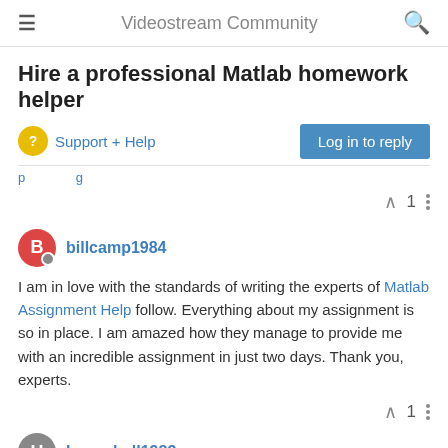Videostream Community
Hire a professional Matlab homework helper
Support + Help
Log in to reply
billcamp1984
I am in love with the standards of writing the experts of Matlab Assignment Help follow. Everything about my assignment is so in place. I am amazed how they manage to provide me with an incredible assignment in just two days. Thank you, experts.
hannabell1983